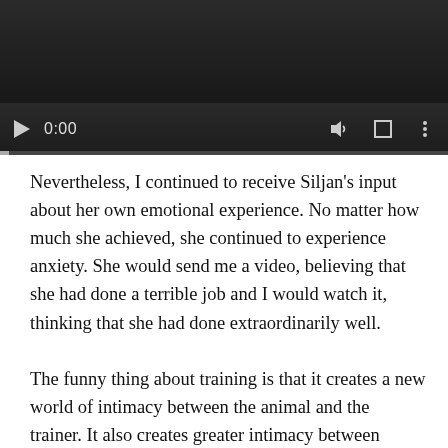[Figure (screenshot): Video player UI with dark background, play button, time display showing 0:00, volume icon, fullscreen icon, and options icon, with a progress bar at the bottom]
Nevertheless, I continued to receive Siljan's input about her own emotional experience. No matter how much she achieved, she continued to experience anxiety. She would send me a video, believing that she had done a terrible job and I would watch it, thinking that she had done extraordinarily well.
The funny thing about training is that it creates a new world of intimacy between the animal and the trainer. It also creates greater intimacy between